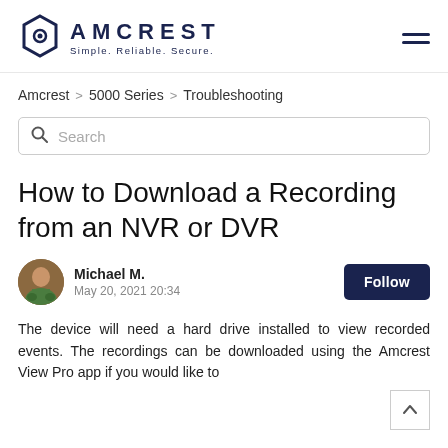[Figure (logo): Amcrest logo with hexagonal icon and tagline 'Simple. Reliable. Secure.']
Amcrest > 5000 Series > Troubleshooting
Search
How to Download a Recording from an NVR or DVR
Michael M.
May 20, 2021 20:34
The device will need a hard drive installed to view recorded events. The recordings can be downloaded using the Amcrest View Pro app if you would like to